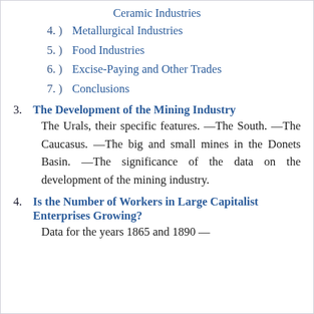Ceramic Industries
4. ) Metallurgical Industries
5. ) Food Industries
6. ) Excise-Paying and Other Trades
7. ) Conclusions
3. The Development of the Mining Industry
The Urals, their specific features. —The South. —The Caucasus. —The big and small mines in the Donets Basin. —The significance of the data on the development of the mining industry.
4. Is the Number of Workers in Large Capitalist Enterprises Growing?
Data for the years 1865 and 1890 —